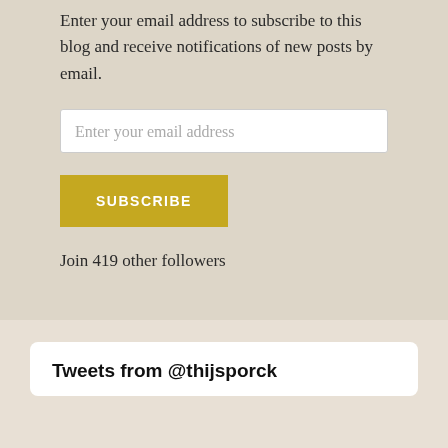Enter your email address to subscribe to this blog and receive notifications of new posts by email.
Enter your email address
SUBSCRIBE
Join 419 other followers
Tweets from @thijsporck